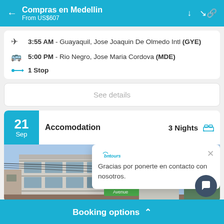Compras en Medellin
From US$607
3:55 AM - Guayaquil, Jose Joaquin De Olmedo Intl (GYE)
5:00 PM - Rio Negro, Jose Maria Cordova (MDE)
1 Stop
See details
21 Sep   Accomodation   3 Nights
[Figure (photo): Hotel building exterior photo showing a multi-story building with balconies and power lines]
Gracias por ponerte en contacto con nosotros.
Booking options ^